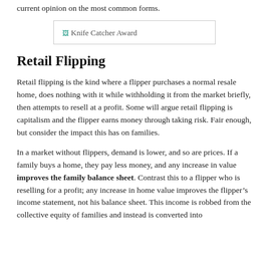current opinion on the most common forms.
[Figure (other): Knife Catcher Award image placeholder]
Retail Flipping
Retail flipping is the kind where a flipper purchases a normal resale home, does nothing with it while withholding it from the market briefly, then attempts to resell at a profit. Some will argue retail flipping is capitalism and the flipper earns money through taking risk. Fair enough, but consider the impact this has on families.
In a market without flippers, demand is lower, and so are prices. If a family buys a home, they pay less money, and any increase in value improves the family balance sheet. Contrast this to a flipper who is reselling for a profit; any increase in home value improves the flipper’s income statement, not his balance sheet. This income is robbed from the collective equity of families and instead is converted into